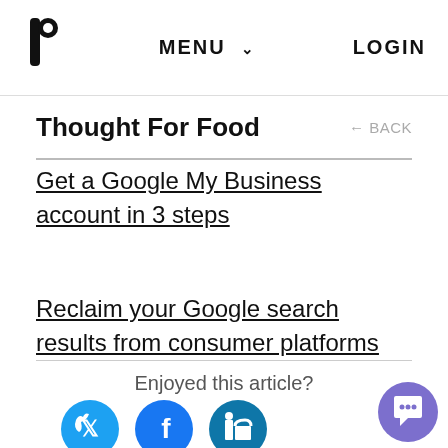MENU  LOGIN
Thought For Food
← BACK
Get a Google My Business account in 3 steps
Reclaim your Google search results from consumer platforms
Enjoyed this article?
[Figure (illustration): Social share icons: Twitter (cyan circle), Facebook (dark blue circle), LinkedIn (cyan circle)]
[Figure (illustration): Chat support button: purple circle with smiley face icon]